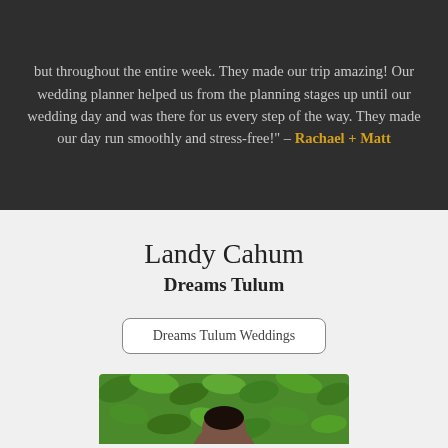but throughout the entire week. They made our trip amazing! Our wedding planner helped us from the planning stages up until our wedding day and was there for us every step of the way. They made our day run smoothly and stress-free!" – Rachael + Matt
Landy Cahum
Dreams Tulum
Dreams Tulum Weddings
[Figure (photo): Photo of Landy Cahum in front of green leafy background, partially visible at bottom of page]